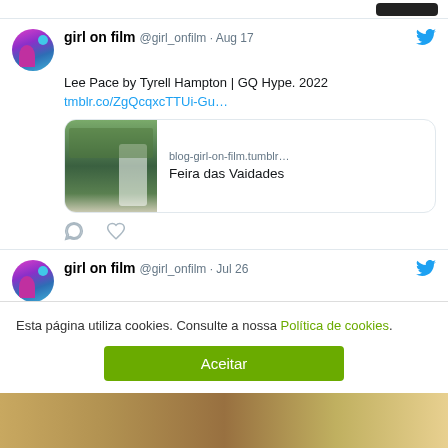[Figure (screenshot): Top bar with dark button on right side]
girl on film @girl_onfilm · Aug 17
Lee Pace by Tyrell Hampton | GQ Hype. 2022 tmblr.co/ZgQcqxcTTUi-Gu...
[Figure (screenshot): Link preview card showing blog-girl-on-film.tumblr... / Feira das Vaidades with photo of person in white top]
[Figure (screenshot): Tweet action icons: comment and heart]
girl on film @girl_onfilm · Jul 26
📷 Austin Butler by Collier Schorr | VMAN 49, Fall-Winter 2022
tmblr.co/ZgQcqxcMNSS4aW...
Esta página utiliza cookies. Consulte a nossa Política de cookies.
Aceitar